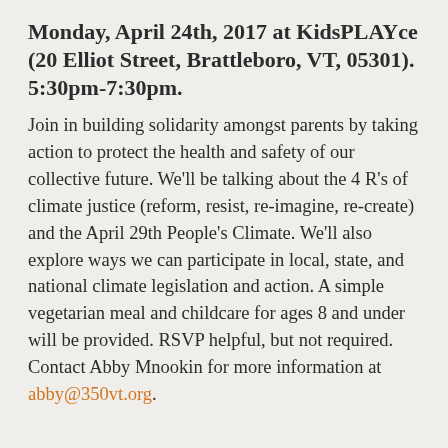Monday, April 24th, 2017 at KidsPLAYce (20 Elliot Street, Brattleboro, VT, 05301). 5:30pm-7:30pm.
Join in building solidarity amongst parents by taking action to protect the health and safety of our collective future. We'll be talking about the 4 R's of climate justice (reform, resist, re-imagine, re-create) and the April 29th People's Climate. We'll also explore ways we can participate in local, state, and national climate legislation and action. A simple vegetarian meal and childcare for ages 8 and under will be provided. RSVP helpful, but not required. Contact Abby Mnookin for more information at abby@350vt.org.